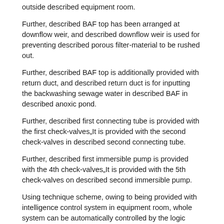outside described equipment room.
Further, described BAF top has been arranged at downflow weir, and described downflow weir is used for preventing described porous filter-material to be rushed out.
Further, described BAF top is additionally provided with return duct, and described return duct is for inputting the backwashing sewage water in described BAF in described anoxic pond.
Further, described first connecting tube is provided with the first check-valvesIt is provided with the second check-valves in described second connecting tube.
Further, described first immersible pump is provided with the 4th check-valvesIt is provided with the 5th check-valves on described second immersible pump.
Using technique scheme, owing to being provided with intelligence control system in equipment room, whole system can be automatically controlled by the logic controller in intelligence control system, guard without personnel, realize self energyization to control, facilitate operational management, it is adaptable to the sanitary